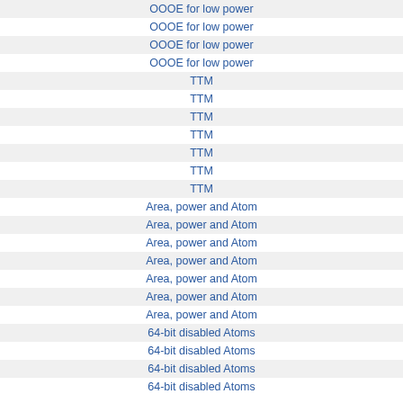| OOOE for low power |
| OOOE for low power |
| OOOE for low power |
| OOOE for low power |
| TTM |
| TTM |
| TTM |
| TTM |
| TTM |
| TTM |
| TTM |
| Area, power and Atom |
| Area, power and Atom |
| Area, power and Atom |
| Area, power and Atom |
| Area, power and Atom |
| Area, power and Atom |
| Area, power and Atom |
| 64-bit disabled Atoms |
| 64-bit disabled Atoms |
| 64-bit disabled Atoms |
| 64-bit disabled Atoms |